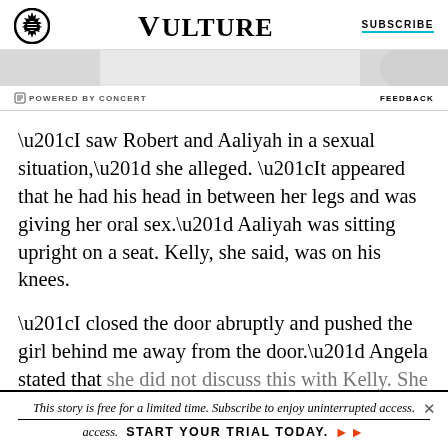VULTURE | SUBSCRIBE
[Figure (other): Advertisement banner: partial image strip with 'POWERED BY CONCERT' and 'FEEDBACK' labels]
“I saw Robert and Aaliyah in a sexual situation,” she alleged. “It appeared that he had his head in between her legs and was giving her oral sex.” Aaliyah was sitting upright on a seat. Kelly, she said, was on his knees.
“I closed the door abruptly and pushed the girl behind me away from the door.” Angela stated that she did not discuss this with Kelly. She claimed to
This story is free for a limited time. Subscribe to enjoy uninterrupted access. START YOUR TRIAL TODAY.